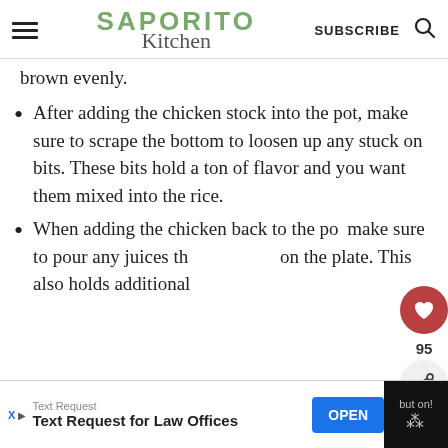SAPORITO Kitchen — SUBSCRIBE
brown evenly.
After adding the chicken stock into the pot, make sure to scrape the bottom to loosen up any stuck on bits. These bits hold a ton of flavor and you want them mixed into the rice.
When adding the chicken back to the pot, make sure to pour any juices that collected on the plate. This also holds additional
WHAT'S NEXT → Italian Beef Braciole...
Text Request
Text Request for Law Offices OPEN